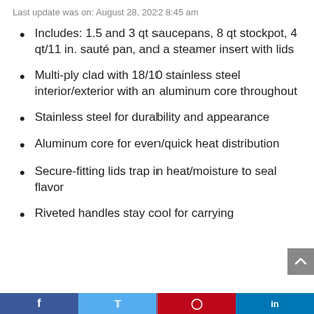Last update was on: August 28, 2022 8:45 am
Includes: 1.5 and 3 qt saucepans, 8 qt stockpot, 4 qt/11 in. sauté pan, and a steamer insert with lids
Multi-ply clad with 18/10 stainless steel interior/exterior with an aluminum core throughout
Stainless steel for durability and appearance
Aluminum core for even/quick heat distribution
Secure-fitting lids trap in heat/moisture to seal flavor
Riveted handles stay cool for carrying
Social share bar